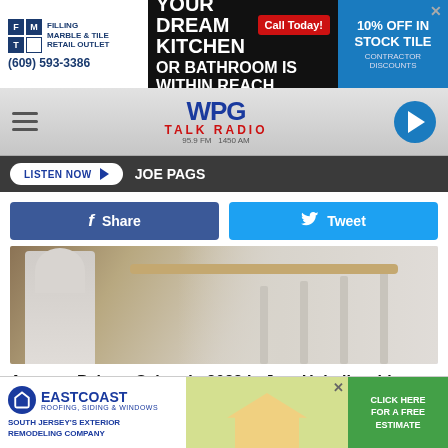[Figure (screenshot): Top advertisement banner for Filling Marble & Tile Retail Outlet with phone (609) 593-3386, text 'Your Dream Kitchen or Bathroom is Within Reach', red Call Today button, and blue 10% Off In Stock Tile panel]
[Figure (logo): WPG Talk Radio navigation bar with hamburger menu, WPG Talk Radio logo (95.9 FM / 1450 AM), and blue play button]
LISTEN NOW ▶  JOE PAGS
[Figure (other): Facebook Share button and Twitter Tweet button]
[Figure (photo): Photo of a painter in white clothing painting a wall/staircase area]
Avarage Painter Salary In 2022 Is Just Unbelievable (See List)
Painters Job | Search Ads
[Figure (photo): Second sponsored content image with pinkish/mauve background]
[Figure (screenshot): Bottom advertisement for East Coast Roofing, Siding & Windows - South Jersey's Exterior Remodeling Company with green Click Here For A Free Estimate button]